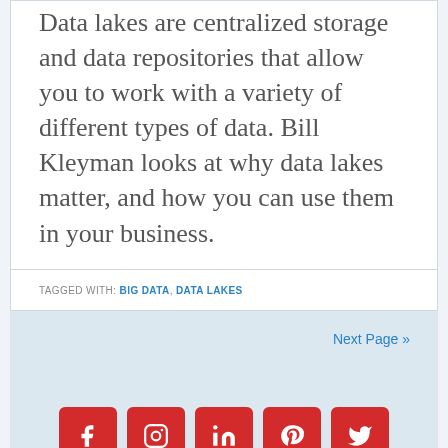Data lakes are centralized storage and data repositories that allow you to work with a variety of different types of data. Bill Kleyman looks at why data lakes matter, and how you can use them in your business.
TAGGED WITH: BIG DATA, DATA LAKES
Next Page »
[Figure (other): Row of five red square social media icon buttons: Facebook, Instagram, LinkedIn, Pinterest, Twitter]